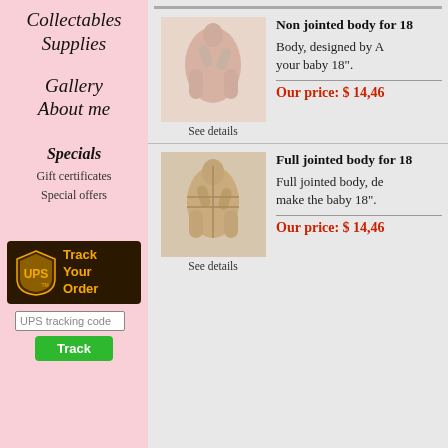Collectables
Supplies
Gallery
About me
Specials
Gift certificates
Special offers
[Figure (logo): UPS Track Your Order shield logo with dark brown background and gold text]
UPS tracking code
Track
[Figure (photo): Non-jointed baby doll body in pink fabric lying on white fluffy surface]
See details
Non jointed body for 18
Body, designed by A your baby 18".
Our price: $ 14,46
[Figure (photo): Full jointed baby doll body in beige fabric showing torso and limb joints]
See details
Full jointed body for 18
Full jointed body, de make the baby 18".
Our price: $ 14,46